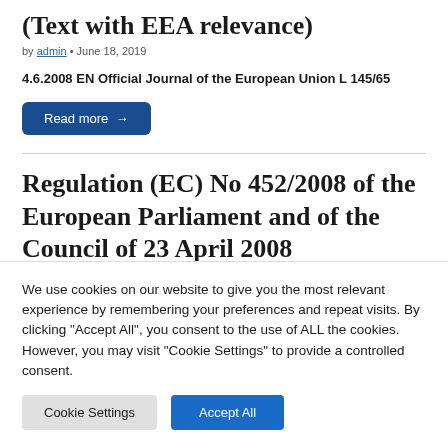(Text with EEA relevance)
by admin • June 18, 2019
4.6.2008 EN Official Journal of the European Union L 145/65
Read more →
Regulation (EC) No 452/2008 of the European Parliament and of the Council of 23 April 2008
We use cookies on our website to give you the most relevant experience by remembering your preferences and repeat visits. By clicking "Accept All", you consent to the use of ALL the cookies. However, you may visit "Cookie Settings" to provide a controlled consent.
Cookie Settings | Accept All